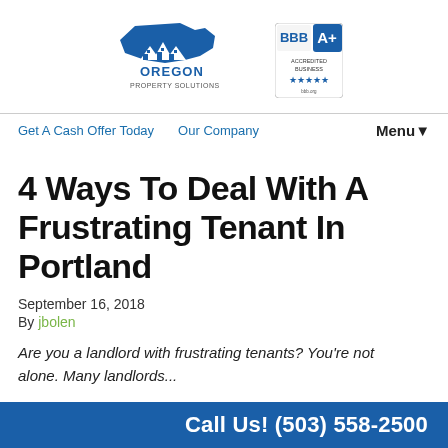[Figure (logo): Oregon Property Solutions logo with house silhouette and Oregon state outline, alongside BBB A+ accredited business badge]
Get A Cash Offer Today   Our Company   Menu▾
4 Ways To Deal With A Frustrating Tenant In Portland
September 16, 2018
By jbolen
Are you a landlord with frustrating tenants? You're not alone. Many landlords...
Call Us! (503) 558-2500